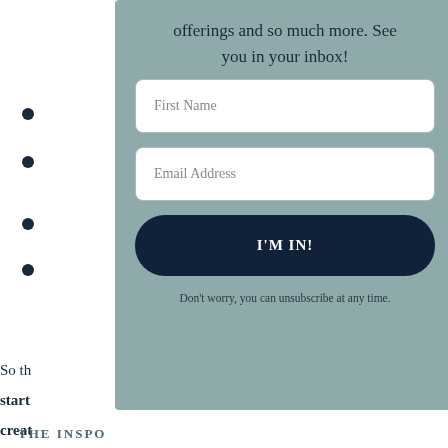•
•
•
•
[Figure (screenshot): Newsletter signup modal overlay with teal/sage background. Contains centered heading text 'offerings and so much more. See you in your inbox!', a First Name input field, an Email Address input field, a dark navy 'I'M IN!' submit button, and disclaimer text 'Don't worry, you can unsubscribe at any time.']
So th
ays
start
e
creat
THE INSPO